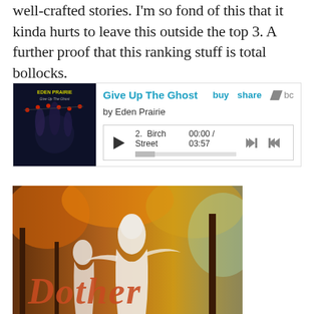well-crafted stories. I'm so fond of this that it kinda hurts to leave this outside the top 3. A further proof that this ranking stuff is total bollocks.
[Figure (screenshot): Bandcamp embedded music player showing 'Give Up The Ghost' by Eden Prairie, with album art on left, track listing showing '2. Birch Street' with timestamp 00:00 / 03:57 and playback controls.]
[Figure (photo): A figure dressed in white flowing fabric like a ghost, in an autumn woodland scene with orange and brown foliage. Text 'Dother' overlaid in italic orange font at the bottom.]